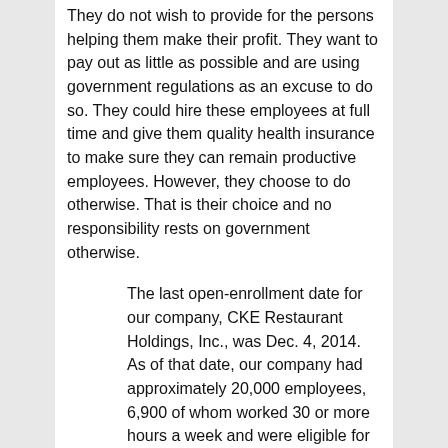They do not wish to provide for the persons helping them make their profit. They want to pay out as little as possible and are using government regulations as an excuse to do so. They could hire these employees at full time and give them quality health insurance to make sure they can remain productive employees. However, they choose to do otherwise. That is their choice and no responsibility rests on government otherwise.
The last open-enrollment date for our company, CKE Restaurant Holdings, Inc., was Dec. 4, 2014. As of that date, our company had approximately 20,000 employees, 6,900 of whom worked 30 or more hours a week and were eligible for ObamaCare-compliant health insurance.
So 13,000 of their employees are part time who do not get a full time wage. Nice.
Of the 6,900 eligible employees, 1,447 already had ObamaCare-compliant insurance through our pre-existing company plans. That left 5,453 employees